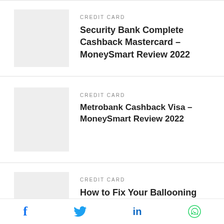CREDIT CARD
Security Bank Complete Cashback Mastercard – MoneySmart Review 2022
CREDIT CARD
Metrobank Cashback Visa – MoneySmart Review 2022
CREDIT CARD
How to Fix Your Ballooning Credit Card Debt
f  Twitter  in  WhatsApp